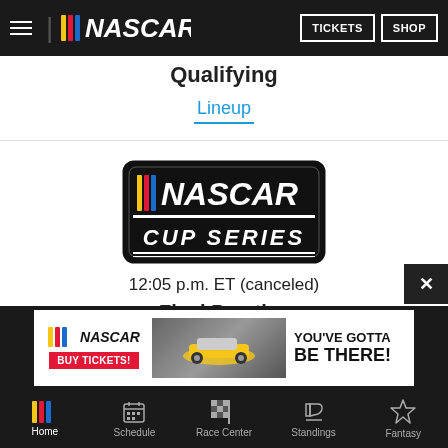NASCAR | TICKETS | SHOP
Qualifying
Lineup
[Figure (logo): NASCAR Cup Series badge/logo in black rounded rectangle with white text]
12:05 p.m. ET (canceled)
Final Practice
Canceled
[Figure (infographic): NASCAR advertisement banner: NASCAR logo, BUY TICKETS button in red, race car image, YOU'VE GOTTA BE THERE! text]
Home | Schedule | Race Center | Standings | Fantasy